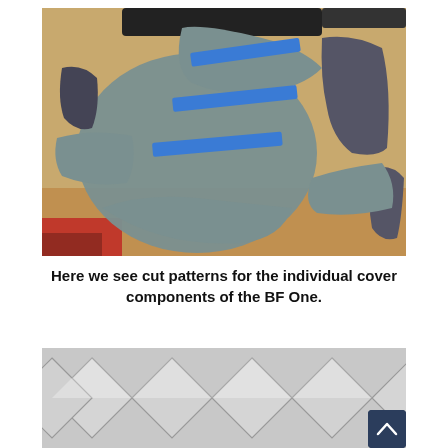[Figure (photo): Cut fabric patterns for individual cover components of the BF One laid out on a wooden workbench. Gray and black fabric pieces with blue tape strips are arranged on the surface.]
Here we see cut patterns for the individual cover components of the BF One.
[Figure (photo): Close-up photo of quilted gray leather or synthetic material with diamond-stitching pattern, partially visible at bottom of page.]